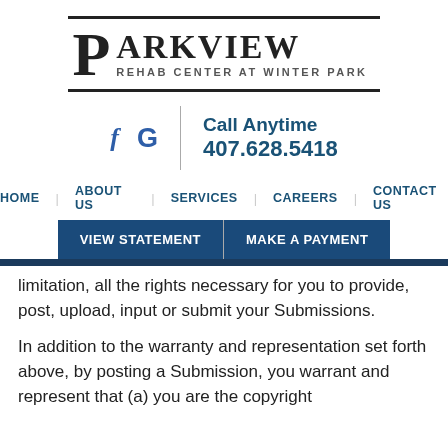[Figure (logo): Parkview Rehab Center at Winter Park logo with large P and horizontal border lines]
f G | Call Anytime 407.628.5418
HOME  ABOUT US  SERVICES  CAREERS  CONTACT US
VIEW STATEMENT  MAKE A PAYMENT
limitation, all the rights necessary for you to provide, post, upload, input or submit your Submissions.
In addition to the warranty and representation set forth above, by posting a Submission, you warrant and represent that (a) you are the copyright